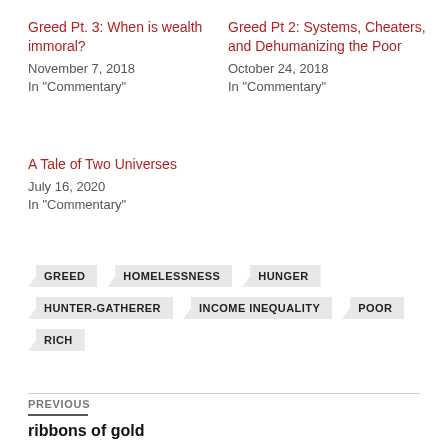Greed Pt. 3: When is wealth immoral?
November 7, 2018
In "Commentary"
Greed Pt 2: Systems, Cheaters, and Dehumanizing the Poor
October 24, 2018
In "Commentary"
A Tale of Two Universes
July 16, 2020
In "Commentary"
GREED
HOMELESSNESS
HUNGER
HUNTER-GATHERER
INCOME INEQUALITY
POOR
RICH
PREVIOUS
ribbons of gold